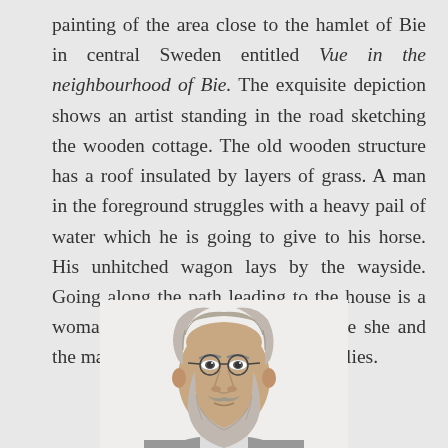painting of the area close to the hamlet of Bie in central Sweden entitled Vue in the neighbourhood of Bie. The exquisite depiction shows an artist standing in the road sketching the wooden cottage. The old wooden structure has a roof insulated by layers of grass. A man in the foreground struggles with a heavy pail of water which he is going to give to his horse. His unhitched wagon lays by the wayside. Going along the path leading to the house is a woman carrying a heavy bag. Maybe she and the man have been into town for supplies.
[Figure (illustration): Black and white portrait illustration of an older bearded man with glasses and wavy hair, shown from the shoulders up, facing slightly to the right.]